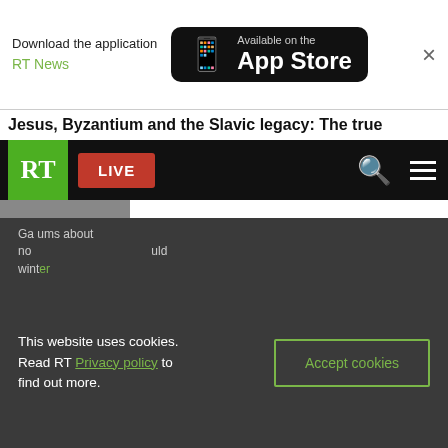Download the application RT News — Available on the App Store
Jesus, Byzantium and the Slavic legacy: The true…
RT LIVE [navigation bar with search and menu icons]
This website uses cookies. Read RT Privacy policy to find out more.
Accept cookies